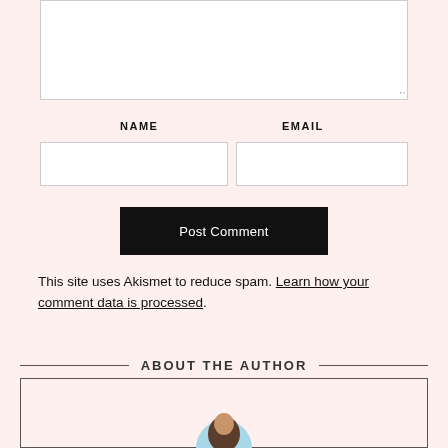[Figure (screenshot): Empty textarea input box for comment]
NAME
EMAIL
[Figure (screenshot): Name text input field]
[Figure (screenshot): Email text input field]
[Figure (screenshot): Post Comment submit button (black background, white text)]
This site uses Akismet to reduce spam. Learn how your comment data is processed.
ABOUT THE AUTHOR
[Figure (photo): Author avatar photo, partially visible at bottom of page, circular crop with light blue border]